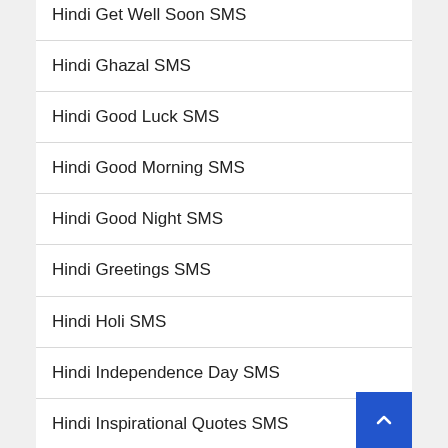Hindi Get Well Soon SMS
Hindi Ghazal SMS
Hindi Good Luck SMS
Hindi Good Morning SMS
Hindi Good Night SMS
Hindi Greetings SMS
Hindi Holi SMS
Hindi Independence Day SMS
Hindi Inspirational Quotes SMS